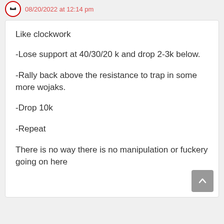08/20/2022 at 12:14 pm
Like clockwork
-Lose support at 40/30/20 k and drop 2-3k below.
-Rally back above the resistance to trap in some more wojaks.
-Drop 10k
-Repeat
There is no way there is no manipulation or fuckery going on here